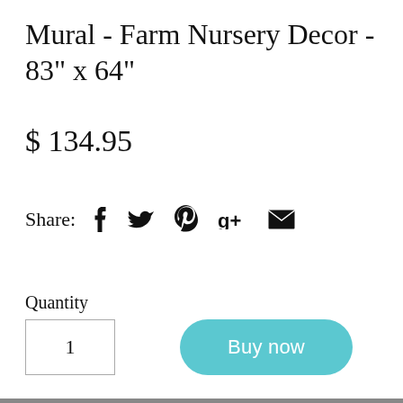Mural - Farm Nursery Decor - 83" x 64"
$ 134.95
Share:
Quantity
1
Buy now